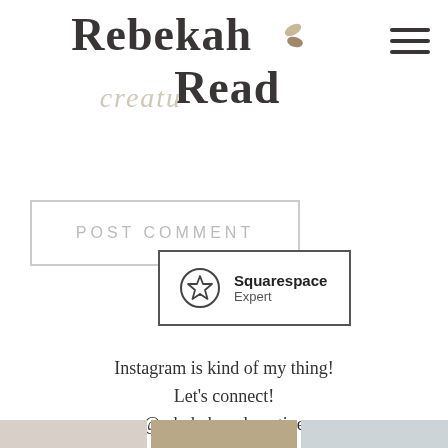[Figure (logo): Rebekah Read Creative logo with decorative leaf illustration and cursive 'creatu' overlay text]
[Figure (illustration): Hamburger menu icon (three horizontal lines) in top right corner]
POST COMMENT
[Figure (logo): Squarespace Expert badge with star icon in circle, text 'Squarespace Expert']
Instagram is kind of my thing!
Let's connect!
@rebekahreadcreative
[Figure (photo): Three Instagram photo thumbnails at the bottom of the page]